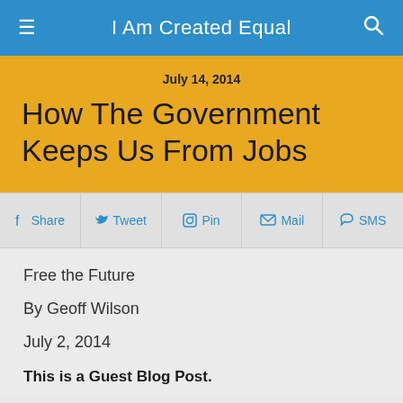I Am Created Equal
July 14, 2014
How The Government Keeps Us From Jobs
Share  Tweet  Pin  Mail  SMS
Free the Future
By Geoff Wilson
July 2, 2014
This is a Guest Blog Post.